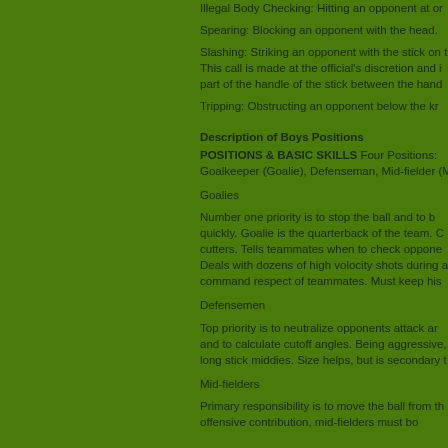Illegal Body Checking: Hitting an opponent at or...
Spearing: Blocking an opponent with the head.
Slashing: Striking an opponent with the stick on t... This call is made at the official's discretion and i... part of the handle of the stick between the hand...
Tripping: Obstructing an opponent below the kn...
Description of Boys Positions
POSITIONS & BASIC SKILLS Four Positions: Goalkeeper (Goalie), Defenseman, Mid-fielder (M...
Goalies
Number one priority is to stop the ball and to b... quickly. Goalie is the quarterback of the team. C... cutters. Tells teammates when to check oppone... Deals with dozens of high volocity shots during a... command respect of teammates. Must keep his...
Defensemen
Top priority is to neutralize opponents attack a... and to calculate cutoff angles. Being aggressive,... long stick middies. Size helps, but is secondary t...
Mid-fielders
Primary responsibility is to move the ball from th... offensive contribution, mid-fielders must bo...